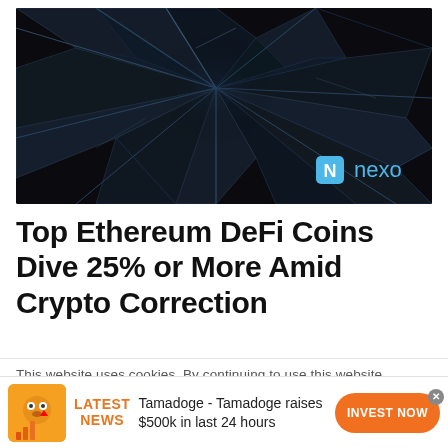[Figure (photo): Dark shattered glass with cracks radiating from center, nexo logo with blue diamond icon in bottom right corner]
Top Ethereum DeFi Coins Dive 25% or More Amid Crypto Correction
This website uses cookies. By continuing to use this website
LATEST NEWS  Tamadoge - Tamadoge raises $500k in last 24 hours  INVEST NOW